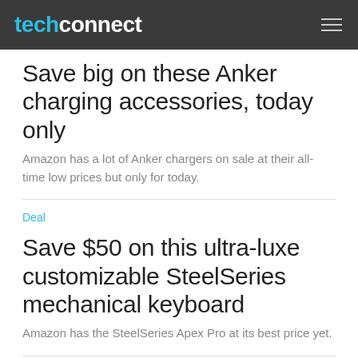techconnect
Save big on these Anker charging accessories, today only
Amazon has a lot of Anker chargers on sale at their all-time low prices but only for today.
Deal
Save $50 on this ultra-luxe customizable SteelSeries mechanical keyboard
Amazon has the SteelSeries Apex Pro at its best price yet.
Deal
The first-generation iPad Pencil